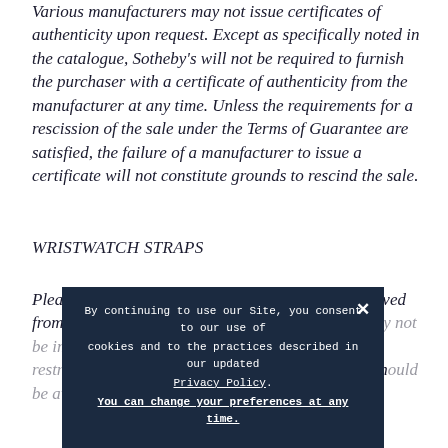Various manufacturers may not issue certificates of authenticity upon request. Except as specifically noted in the catalogue, Sotheby's will not be required to furnish the purchaser with a certificate of authenticity from the manufacturer at any time. Unless the requirements for a rescission of the sale under the Terms of Guarantee are satisfied, the failure of a manufacturer to issue a certificate will not constitute grounds to rescind the sale.
WRISTWATCH STRAPS
Please be advised that straps made of material derived from endangered or otherwise protected sp[ecies may not be imported into many countries with the [relevant] res[trictions and] sh[ould be checked before purchase]
By continuing to use our Site, you consent to our use of cookies and to the practices described in our updated Privacy Policy. You can change your preferences at any time.